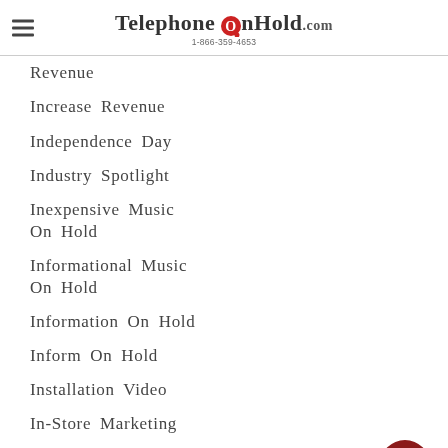TelephoneOnHold.com 1-866-359-4653
Revenue
Increase Revenue
Independence Day
Industry Spotlight
Inexpensive Music On Hold
Informational Music On Hold
Information On Hold
Inform On Hold
Installation Video
In-Store Marketing
[Figure (illustration): Scroll-to-top button (circular dark red arrow icon) in lower right corner]